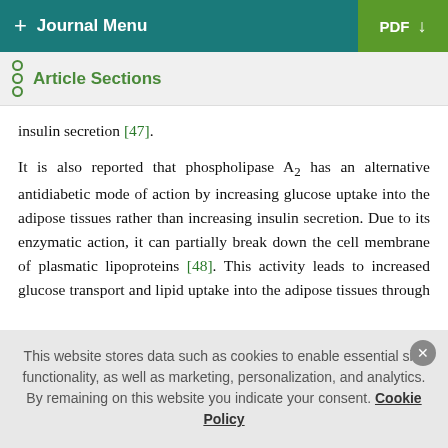+ Journal Menu | PDF ↓
Article Sections
insulin secretion [47].
It is also reported that phospholipase A2 has an alternative antidiabetic mode of action by increasing glucose uptake into the adipose tissues rather than increasing insulin secretion. Due to its enzymatic action, it can partially break down the cell membrane of plasmatic lipoproteins [48]. This activity leads to increased glucose transport and lipid uptake into the adipose tissues through partial lyses of adipocyte membranes and binding of a higher number of insulin molecules [49]. Meanwhile, phospholipase A2 also has a higher affinity for the plasmatic
This website stores data such as cookies to enable essential site functionality, as well as marketing, personalization, and analytics. By remaining on this website you indicate your consent. Cookie Policy